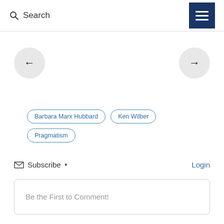Search
[Figure (other): Left arrow navigation circle button]
[Figure (other): Right arrow navigation circle button]
Barbara Marx Hubbard
Ken Wilber
Pragmatism
Subscribe  Login
Be the First to Comment!